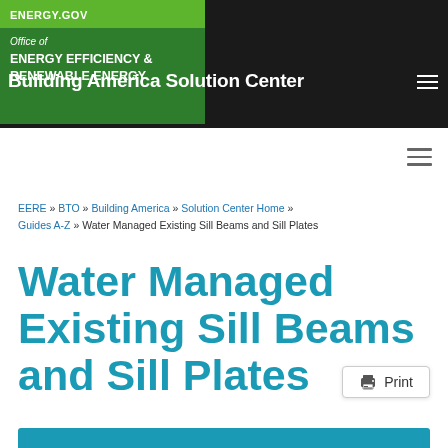ENERGY.GOV — Office of ENERGY EFFICIENCY & RENEWABLE ENERGY — Building America Solution Center
EERE » BTO » Building America » Solution Center Home » Guides A-Z » Water Managed Existing Sill Beams and Sill Plates
Water Managed Existing Sill Beams and Sill Plates